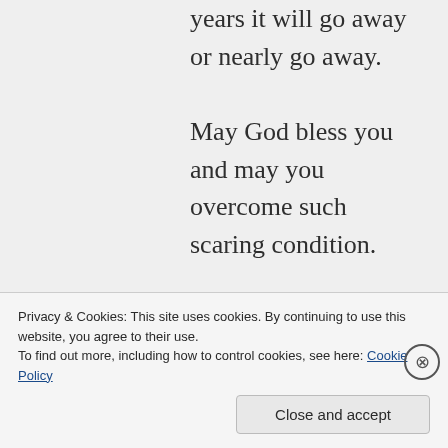years it will go away or nearly go away.

May God bless you and may you overcome such scaring condition.
Privacy & Cookies: This site uses cookies. By continuing to use this website, you agree to their use.
To find out more, including how to control cookies, see here: Cookie Policy